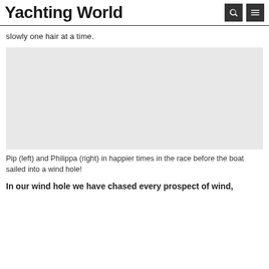Yachting World
slowly one hair at a time.
[Figure (photo): Pip (left) and Philippa (right) in happier times in the race before the boat sailed into a wind hole]
Pip (left) and Philippa (right) in happier times in the race before the boat sailed into a wind hole!
In our wind hole we have chased every prospect of wind,